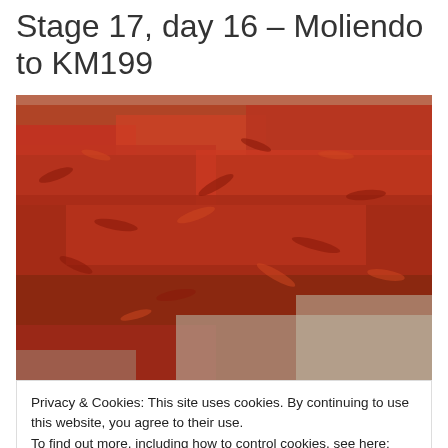Stage 17, day 16 – Moliendo to KM199
[Figure (photo): Large expanse of red chili peppers spread out and drying on a flat surface, viewed from a low angle. The peppers cover nearly the entire ground area, with a concrete edge visible. The image fills most of the upper portion of the page.]
Privacy & Cookies: This site uses cookies. By continuing to use this website, you agree to their use.
To find out more, including how to control cookies, see here: Cookie Policy
Close and accept